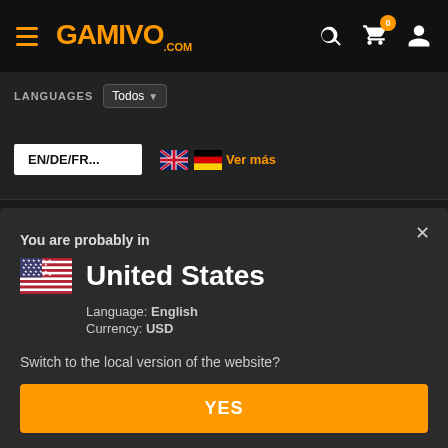GAMIVO.com navigation bar with hamburger menu, logo, search, cart (0), and user icon
LANGUAGES Todos
EN/DE/FR...  Ver más
You are probably in
United States
Language: English
Currency: USD
Switch to the local version of the website?
YES